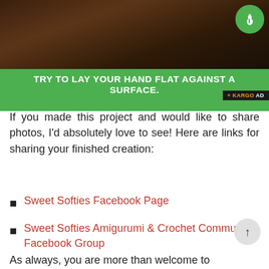[Figure (photo): Dark background advertisement banner showing a hand against a surface. Green circular icon with hand pointer symbol in top right corner.]
TRY TO LAY YOUR HAND FLAT AGAINST A SURFACE.
+ KARGO AD
If you made this project and would like to share photos, I'd absolutely love to see! Here are links for sharing your finished creation:
Sweet Softies Facebook Page
Sweet Softies Amigurumi & Crochet Community Facebook Group
Instagram, @SweetSofties
Email: sweetsofties [at] gmail.com
As always, you are more than welcome to